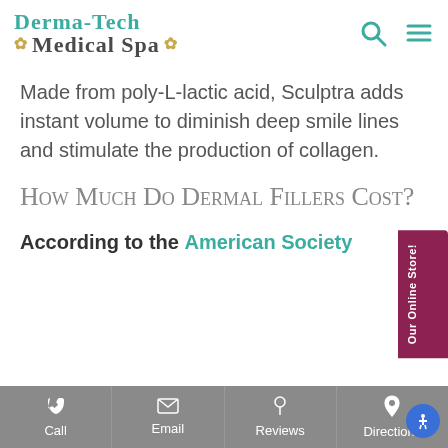[Figure (logo): Derma-Tech Medical Spa logo with teal and dark text and golden snowflake decorations]
Made from poly-L-lactic acid, Sculptra adds instant volume to diminish deep smile lines and stimulate the production of collagen.
How Much Do Dermal Fillers Cost?
According to the American Society
Call  Email  Reviews  Directions